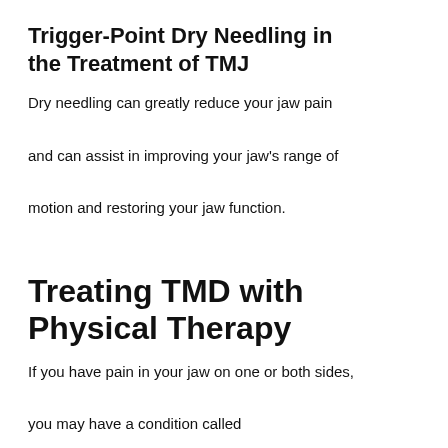Trigger-Point Dry Needling in the Treatment of TMJ
Dry needling can greatly reduce your jaw pain and can assist in improving your jaw's range of motion and restoring your jaw function.
Treating TMD with Physical Therapy
If you have pain in your jaw on one or both sides, you may have a condition called